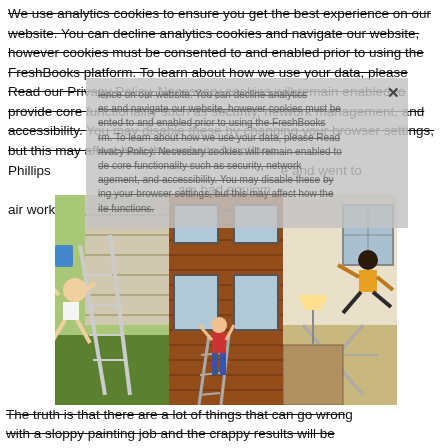We use analytics cookies to ensure you get the best experience on our website. You can decline analytics cookies and navigate our website, however cookies must be consented to and enabled prior to using the FreshBooks platform. To learn about how we use your data, please Read our Privacy Policy. Necessary cookies will remain enabled to provide core functionality such as security, network management, and accessibility. You may disable these by changing your browser settings, but this may affect how the website functions.
Phillips came to our home and went to work. The team had equipment to do the repair work fitting it together in our group effort the whole house painting but necessary repairs...
[Figure (photo): Three photos side by side: person falling off a ladder, person climbing wall of brick house, person falling indoors]
The truth is that there are a lot of things that can go wrong with a sloppy painting job and the crappy results will be instantly visible. Prepping the ceiling and walls as well as carefully repairing any damages is 50% of a successful job. However, cheap painters typically rush through this part of